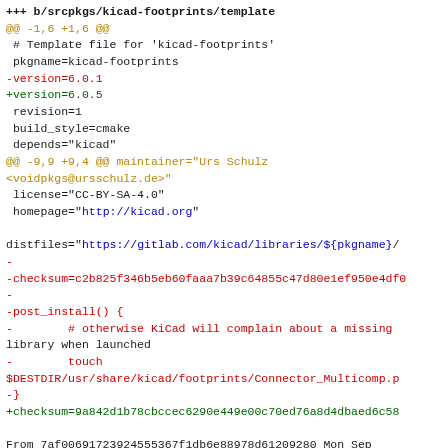diff --git a/srcpkgs/kicad-footprints/template b/srcpkgs/kicad-footprints/template
@@ -1,6 +1,6 @@
 # Template file for 'kicad-footprints'
 pkgname=kicad-footprints
-version=6.0.1
+version=6.0.5
 revision=1
 build_style=cmake
 depends="kicad"
@@ -9,9 +9,4 @@ maintainer="Urs Schulz <voidpkgs@ursschulz.de>"
 license="CC-BY-SA-4.0"
 homepage="http://kicad.org"

distfiles="https://gitlab.com/kicad/libraries/${pkgname}/...
-
-checksum=c2b825f346b5eb60faaa7b39c64855c47d80e1ef950e4df0...
-
-post_install() {
-        # otherwise KiCad will complain about a missing library when launched
-        touch $DESTDIR/usr/share/kicad/footprints/Connector_Multicomp.p...
-}
+checksum=9a842d1b78cbccec6290e449e00c70ed76a8d4dbaed6c58...

From 7af00691723924555367f1db6e88978d61209280 Mon Sep 17 00:00:00 2001
From: Quentin Freimanis <quentinfreimanis@gmail.com>
Date: Sat, 7 May 2022 17:12:29 -0700